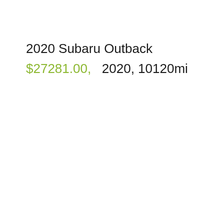2020 Subaru Outback
$27281.00,  2020, 10120mi